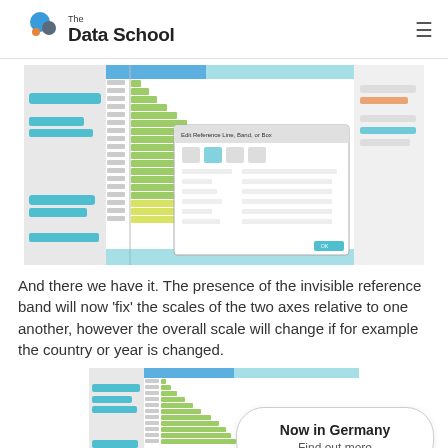The Data School
[Figure (screenshot): Screenshot of Tableau showing a population pyramid chart with a dialog box open for self-referencing calculated field settings. Green and yellow-green bars visible.]
And there we have it. The presence of the invisible reference band will now ‘fix’ the scales of the two axes relative to one another, however the overall scale will change if for example the country or year is changed.
[Figure (screenshot): Second screenshot showing Tableau population pyramid chart, partially visible at the bottom of the page.]